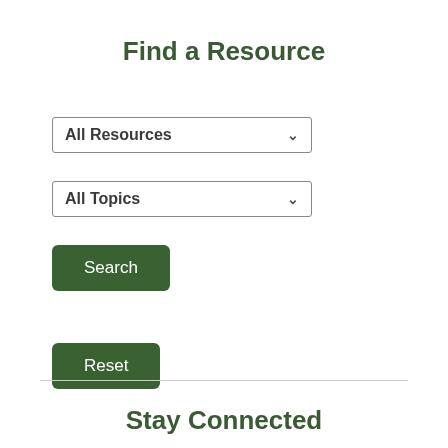Find a Resource
All Resources
All Topics
Search
Reset
Stay Connected